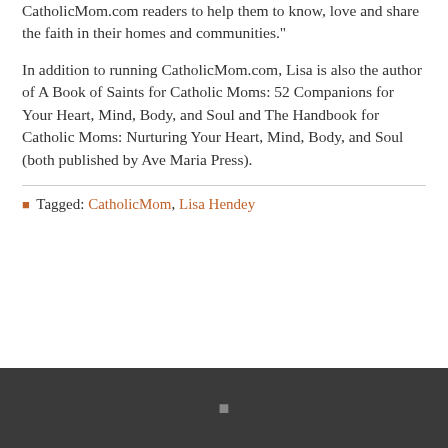CatholicMom.com readers to help them to know, love and share the faith in their homes and communities."
In addition to running CatholicMom.com, Lisa is also the author of A Book of Saints for Catholic Moms: 52 Companions for Your Heart, Mind, Body, and Soul and The Handbook for Catholic Moms: Nurturing Your Heart, Mind, Body, and Soul (both published by Ave Maria Press).
Tagged: CatholicMom, Lisa Hendey